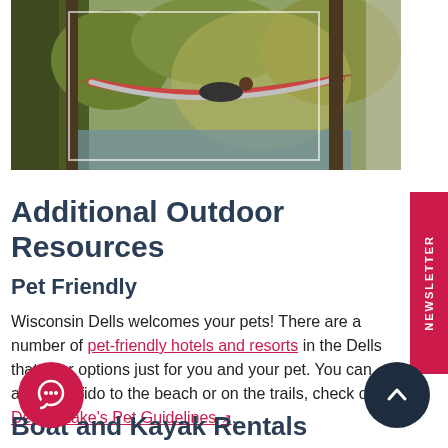[Figure (photo): Person relaxing in a hammock between trees near a lake in a forested outdoor setting with warm sunlight]
Additional Outdoor Resources
Pet Friendly
Wisconsin Dells welcomes your pets! There are a number of pet-friendly hotels and resorts in the Dells that offer options just for you and your pet. You can also take fido to the beach or on the trails, check out Devil's Lake's Pet Guidelines.
Boat and Kayak Rentals